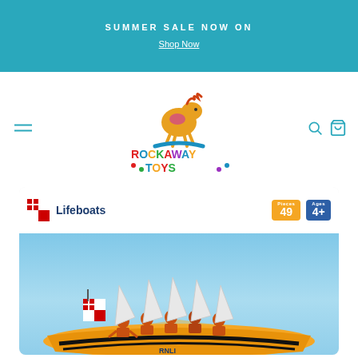SUMMER SALE NOW ON
Shop Now
[Figure (logo): Rockaway Toys logo with colorful rocking horse and multicolored brand name text]
[Figure (photo): RNLI Lifeboats 3D puzzle product box showing assembled yellow lifeboat model with figures, 49 pieces, Ages 4+]